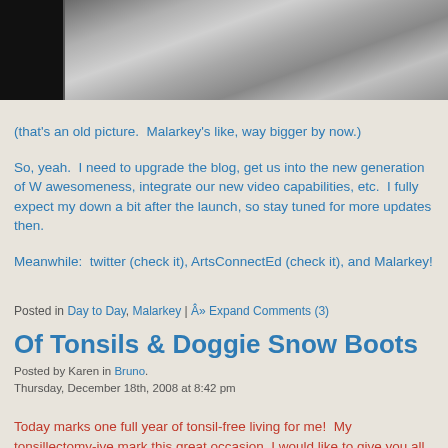[Figure (photo): Black and white photo strip partially visible at top of page, appears to be an animal (Malarkey)]
(that's an old picture.  Malarkey's like, way bigger by now.)
So, yeah.  I need to upgrade the blog, get us into the new generation of W awesomeness, integrate our new video capabilities, etc.  I fully expect my down a bit after the launch, so stay tuned for more updates then.
Meanwhile:  twitter (check it), ArtsConnectEd (check it), and Malarkey!
Posted in Day to Day, Malarkey | Â» Expand Comments (3)
Of Tonsils & Doggie Snow Boots
Posted by Karen in Bruno.
Thursday, December 18th, 2008 at 8:42 pm
Today marks one full year of tonsil-free living for me!  My tonsillectomy-ive mark this great occasion, I would like to give you all a gift: